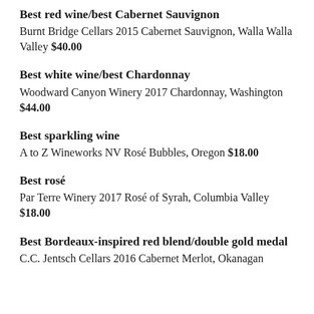Best red wine/best Cabernet Sauvignon
Burnt Bridge Cellars 2015 Cabernet Sauvignon, Walla Walla Valley $40.00
Best white wine/best Chardonnay
Woodward Canyon Winery 2017 Chardonnay, Washington $44.00
Best sparkling wine
A to Z Wineworks NV Rosé Bubbles, Oregon $18.00
Best rosé
Par Terre Winery 2017 Rosé of Syrah, Columbia Valley $18.00
Best Bordeaux-inspired red blend/double gold medal
C.C. Jentsch Cellars 2016 Cabernet Merlot, Okanagan